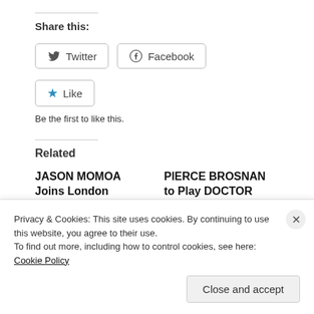Share this:
[Figure (other): Twitter share button with Twitter bird icon]
[Figure (other): Facebook share button with Facebook icon]
[Figure (other): Like button with blue star icon]
Be the first to like this.
Related
JASON MOMOA Joins London Photography for
PIERCE BROSNAN to Play DOCTOR FATE in DCEU's
Privacy & Cookies: This site uses cookies. By continuing to use this website, you agree to their use.
To find out more, including how to control cookies, see here: Cookie Policy
Close and accept